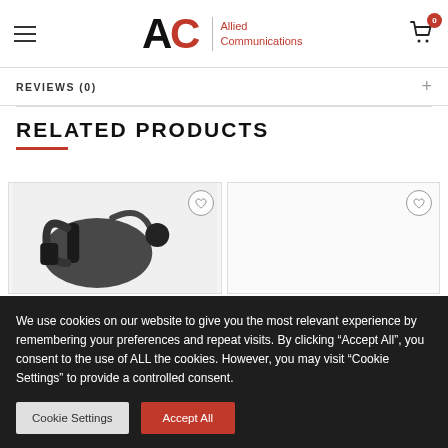Allied Communications — navigation header with hamburger menu, logo, and cart icon (0 items)
REVIEWS (0)
RELATED PRODUCTS
[Figure (photo): Product image of a black headset/earpiece communications device]
We use cookies on our website to give you the most relevant experience by remembering your preferences and repeat visits. By clicking "Accept All", you consent to the use of ALL the cookies. However, you may visit "Cookie Settings" to provide a controlled consent.